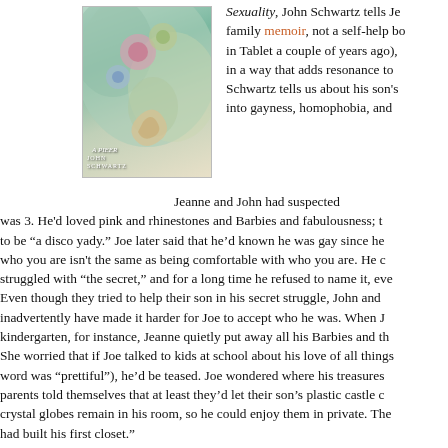[Figure (illustration): Book cover image showing a colorful illustrated scene with flowers or nature elements, with author name John Schwartz at the bottom]
Sexuality, John Schwartz tells Je family memoir, not a self-help bo in Tablet a couple of years ago), in a way that adds resonance to Schwartz tells us about his son's into gayness, homophobia, and
Jeanne and John had suspected was 3. He'd loved pink and rhinestones and Barbies and fabulousness; to be "a disco yady." Joe later said that he'd known he was gay since he who you are isn't the same as being comfortable with who you are. He c struggled with "the secret," and for a long time he refused to name it, eve Even though they tried to help their son in his secret struggle, John and inadvertently have made it harder for Joe to accept who he was. When J kindergarten, for instance, Jeanne quietly put away all his Barbies and th She worried that if Joe talked to kids at school about his love of all things word was "prettiful"), he'd be teased. Joe wondered where his treasures parents told themselves that at least they'd let their son's plastic castle c crystal globes remain in his room, so he could enjoy them in private. The had built his first closet."
There's a lesson here for all parents—even well-minded, open-minde teachers should heed as well, as they wrestle with notions of inclusion, a mean being helpful. We may tell ourselves that the Orthodox are the one bisexual, transgender, and questioning kids, but guess what: A lot of us